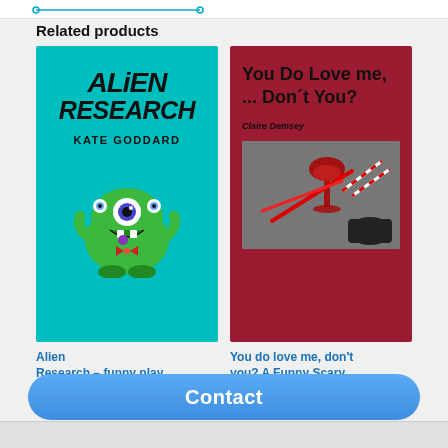Related products
[Figure (illustration): Book cover for 'Alien Research' by Kate Goddard. Teal/turquoise background with stylized text 'ALiEN RESEARCH' in bold black horror-style font, author name 'KATE GODDARD' below, and a green cartoon alien monster at the bottom.]
[Figure (illustration): Book cover for 'You Do Love me, ... Don't You?' by Claire Demsey. Dark red background with bold black title text, author name in italic, and a grayscale photo with red accents showing a wine glass, knife, and scissors.]
Alien Research – funny play
You do love me, don't you? A Funny Scary
Contact
Add to cart